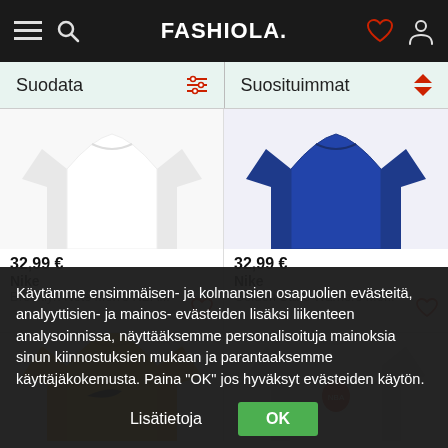FASHIOLA.
Suodata
Suosituimmat
[Figure (photo): White Nike t-shirt product image (Brooklyn Nets)]
32,99 €
Nike
Brooklyn Nets Men's NBA...
[Figure (photo): Blue Nike t-shirt product image (Golden State Warriors)]
32,99 €
Nike
Golden State Warriors Me...
[Figure (photo): Yellow Nike t-shirt product image (Lakers)]
[Figure (photo): White Nike NBA t-shirt product image]
Käytämme ensimmäisen- ja kolmansien osapuolien evästeitä, analyyttisien- ja mainos- evästeiden lisäksi liikenteen analysoinnissa, näyttääksemme personalisoituja mainoksia sinun kiinnostuksien mukaan ja parantaaksemme käyttäjäkokemusta. Paina "OK" jos hyväksyt evästeiden käytön.
Lisätietoja
OK